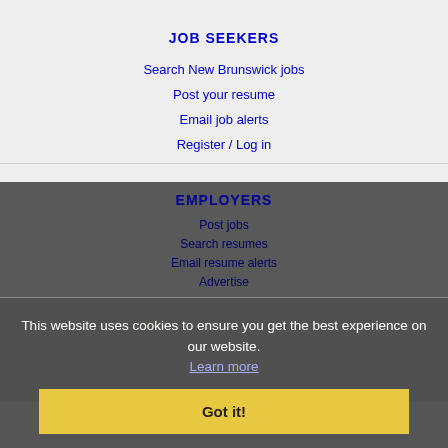JOB SEEKERS
Search New Brunswick jobs
Post your resume
Email job alerts
Register / Log in
EMPLOYERS
Post jobs
Search resumes
Email resume alerts
Advertise
IMMIGRATION SPECIALISTS
This website uses cookies to ensure you get the best experience on our website.
Learn more
Got it!